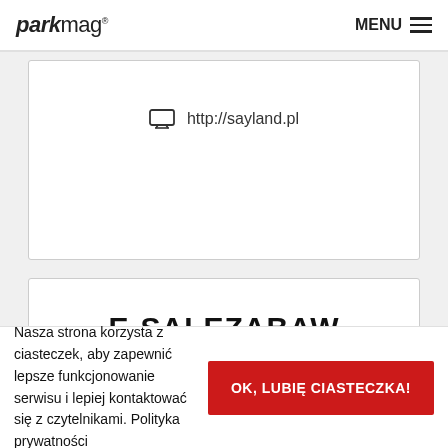parkmag MENU
http://sayland.pl
E-SALEZABAW
Nasza strona korzysta z ciasteczek, aby zapewnić lepsze funkcjonowanie serwisu i lepiej kontaktować się z czytelnikami. Polityka prywatności
OK, LUBIĘ CIASTECZKA!